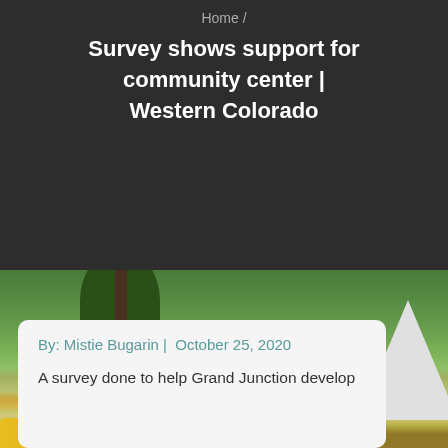Home /
Survey shows support for community center | Western Colorado
[Figure (photo): Outdoor landscape photo showing a hillside with trees, hay bales, a camping tent, and colorful wildflowers in the foreground with a green forest valley in the background.]
By: Mistie Bugarin |  October 25, 2020
A survey done to help Grand Junction develop